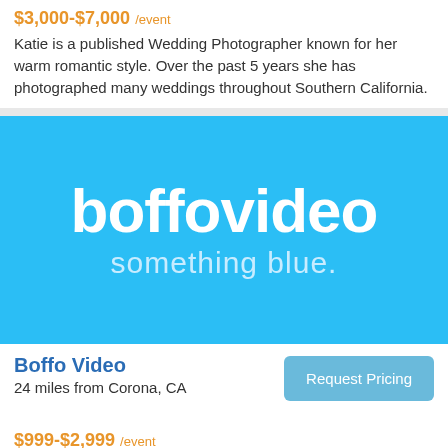$3,000-$7,000 /event
Katie is a published Wedding Photographer known for her warm romantic style. Over the past 5 years she has photographed many weddings throughout Southern California.
[Figure (logo): Boffo Video logo: white text 'boffovideo' and 'something blue.' on a bright blue background]
Boffo Video
24 miles from Corona, CA
Request Pricing
$999-$2,999 /event